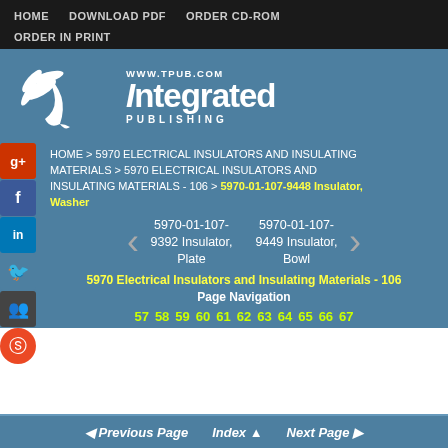HOME   DOWNLOAD PDF   ORDER CD-ROM   ORDER IN PRINT
[Figure (logo): Integrated Publishing logo with bird/leaf graphic and WWW.TPUB.COM URL]
HOME > 5970 ELECTRICAL INSULATORS AND INSULATING MATERIALS > 5970 ELECTRICAL INSULATORS AND INSULATING MATERIALS - 106 > 5970-01-107-9448 Insulator, Washer
5970-01-107-9392 Insulator, Plate   |   5970-01-107-9449 Insulator, Bowl
5970 Electrical Insulators and Insulating Materials - 106
Page Navigation
57  58  59  60  61  62  63  64  65  66  67
Previous Page   Index   Next Page